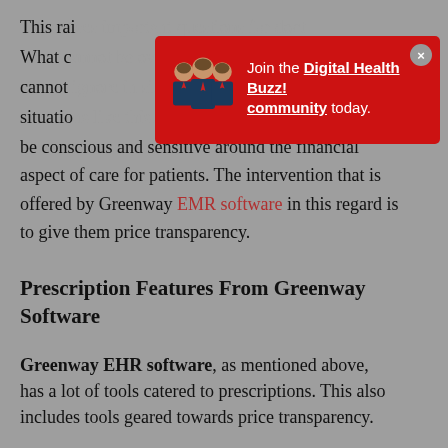This raises important questions for doctors. What doctors cannot ignore in this situation… be conscious and sensitive around the financial aspect of care for patients. The intervention that is offered by Greenway EMR software in this regard is to give them price transparency.
[Figure (illustration): Red popup banner with illustration of three businesspeople figures and text: Join the Digital Health Buzz! community today.]
Prescription Features From Greenway Software
Greenway EHR software, as mentioned above, has a lot of tools catered to prescriptions. This also includes tools geared towards price transparency.